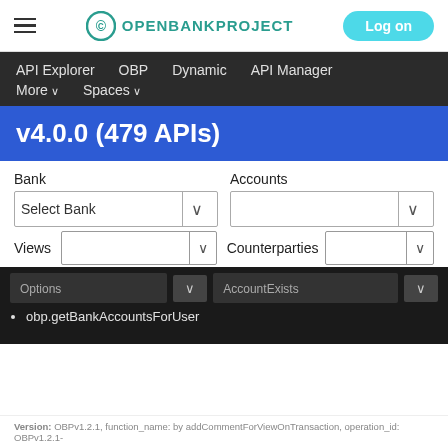Open Bank Project — Log on
API Explorer   OBP   Dynamic   API Manager   More ∨   Spaces ∨
v4.0.0 (479 APIs)
Bank   Accounts   Select Bank ∨   Views   Counterparties   Options ∨   AccountExists ∨   • obp.getBankAccountsForUser
Version: OBPv1.2.1, function_name: by addCommentForViewOnTransaction, operation_id: OBPv1.2.1-